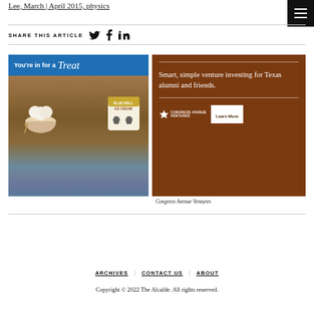Lee, March | April 2015, physics
SHARE THIS ARTICLE
[Figure (photo): Blue Bell Ice Cream advertisement showing a bowl of vanilla ice cream with a Blue Bell Ice Cream container, surrounded by bluebonnet flowers. Header reads 'You're in for a Treat']
[Figure (infographic): Congress Avenue Ventures advertisement on brown background reading 'Smart, simple venture investing for Texas alumni and friends.' with Congress Avenue Ventures logo and 'Learn More' button]
Congress Avenue Ventures
ARCHIVES   CONTACT US   ABOUT
Copyright © 2022 The Alcalde. All rights reserved.